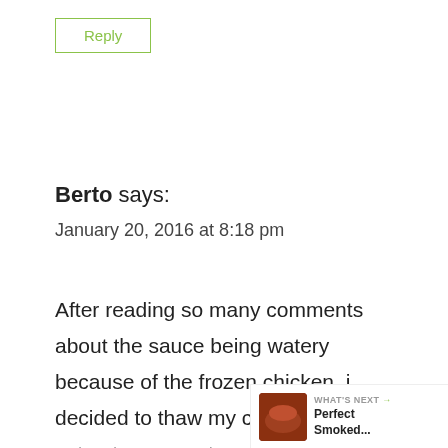Reply
Berto says:
January 20, 2016 at 8:18 pm
After reading so many comments about the sauce being watery because of the frozen chicken, i decided to thaw my chicken and extract some water prior to putting them in the crock pot. I divided 5 pounds of frozen chi... 2 rectangle cake pans, lightly salted